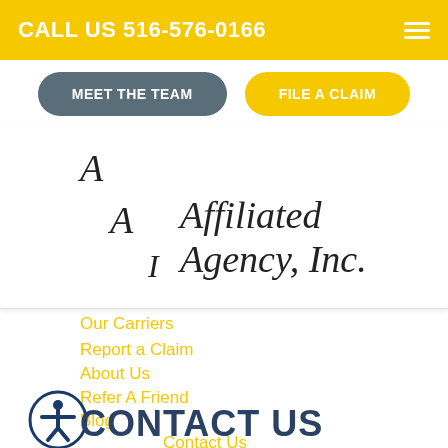CALL US 516-576-0166
MEET THE TEAM
FILE A CLAIM
[Figure (logo): Affiliated Agency, Inc. script logo with stylized letters A, A, I]
Our Carriers
Report a Claim
About Us
Refer A Friend
Blog
Contact Us
CONTACT US